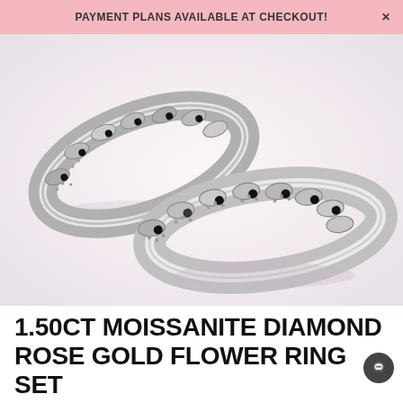PAYMENT PLANS AVAILABLE AT CHECKOUT!
[Figure (photo): Two silver/white gold eternity band rings with black gemstone accents and floral leaf milgrain design, displayed on a light pink/white background. One ring is shown at an angle in the back-left, and the other is displayed lying flat in the front-right.]
1.50CT MOISSANITE DIAMOND ROSE GOLD FLOWER RING SET